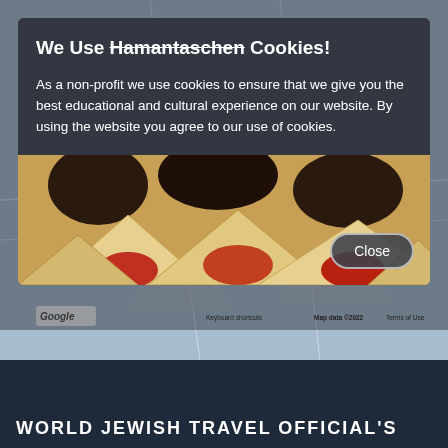[Figure (screenshot): Cookie consent modal overlay on a website. The modal shows a title 'We Use Hamantaschen Cookies!' with 'Hamantaschen' struck through, body text about cookie usage as a non-profit, an image of hamantaschen pastries, and a Close button. Behind the modal is a Google Maps view with Ukrainian text watermarks and map attribution including 'Google', 'Keyboard shortcuts', 'Map data ©2022', 'Terms of Use'.]
We Use Hamantaschen Cookies!
As a non-profit we use cookies to ensure that we give you the best educational and cultural experience on our website. By using the website you agree to our use of cookies.
WORLD JEWISH TRAVEL OFFICIAL'S